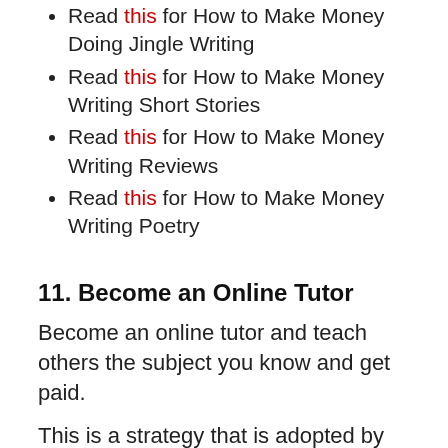Read this for How to Make Money Doing Jingle Writing
Read this for How to Make Money Writing Short Stories
Read this for How to Make Money Writing Reviews
Read this for How to Make Money Writing Poetry
11. Become an Online Tutor
Become an online tutor and teach others the subject you know and get paid.
This is a strategy that is adopted by many people who have the qualification, skill, and experience in certain academic